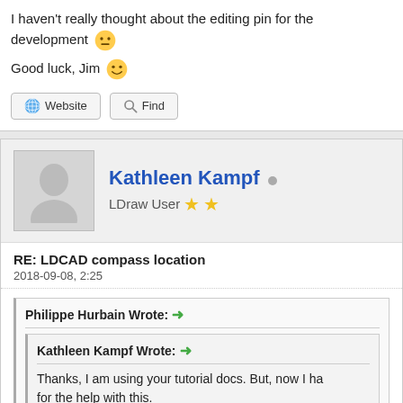I haven't really thought about the editing pin for the development
Good luck, Jim
Website | Find
Kathleen Kampf
LDraw User
RE: LDCAD compass location
2018-09-08, 2:25
Philippe Hurbain Wrote:
Kathleen Kampf Wrote:
Thanks, I am using your tutorial docs. But, now I ha... for the help with this.
Press "p" to hide/show edit pin. Sometimes it gets in